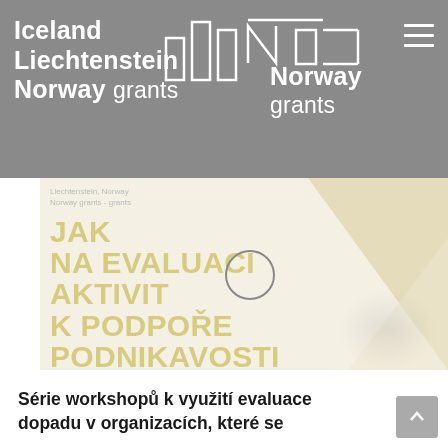[Figure (logo): EEA and Norway Grants logo with abstract bar chart icon and text: Iceland, Liechtenstein, Norway grants / Norway grants]
[Figure (screenshot): Hero image area with faded gold/cream background showing large uppercase Czech text 'JAK NA EVALUACI AKTIVIT K PODPOŘE PODNIKAVOSTI MLÁDEŽE', a play button circle overlay, and a triangular geometric image on the right side with a faded portrait]
Série workshopů k využití evaluace dopadu v organizacích, které se